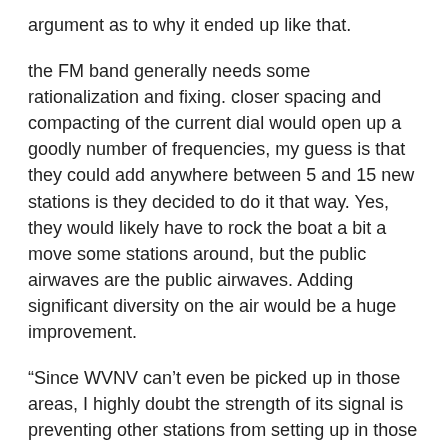argument as to why it ended up like that.
the FM band generally needs some rationalization and fixing. closer spacing and compacting of the current dial would open up a goodly number of frequencies, my guess is that they could add anywhere between 5 and 15 new stations is they decided to do it that way. Yes, they would likely have to rock the boat a bit a move some stations around, but the public airwaves are the public airwaves. Adding significant diversity on the air would be a huge improvement.
“Since WVNV can’t even be picked up in those areas, I highly doubt the strength of its signal is preventing other stations from setting up in those areas. ”
The problem is, like it or not, it does have some effect when you consider any overlap in the signals. While it may not be protected in Montreal (just out of range), it would be protected to the west of Montreal, which would in turn mean that any use of the frequency would have to be very local,